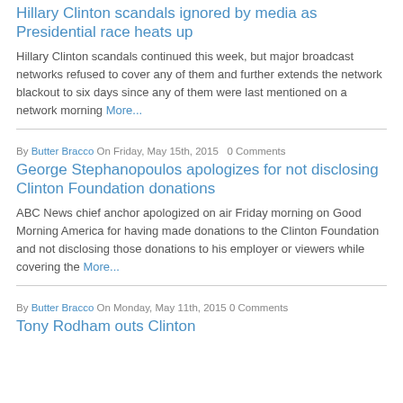Hillary Clinton scandals ignored by media as Presidential race heats up
Hillary Clinton scandals continued this week, but major broadcast networks refused to cover any of them and further extends the network blackout to six days since any of them were last mentioned on a network morning More...
By Butter Bracco On Friday, May 15th, 2015   0 Comments
George Stephanopoulos apologizes for not disclosing Clinton Foundation donations
ABC News chief anchor apologized on air Friday morning on Good Morning America for having made donations to the Clinton Foundation and not disclosing those donations to his employer or viewers while covering the More...
By Butter Bracco On Monday, May 11th, 2015  0 Comments
Tony Rodham outs Clinton